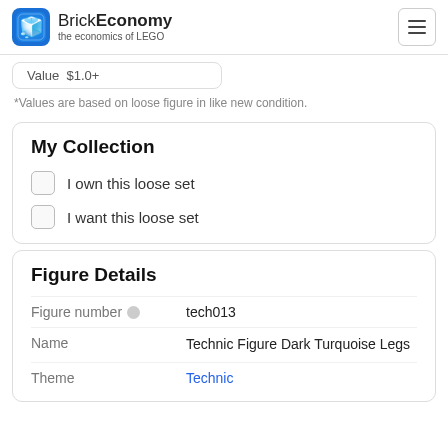BrickEconomy the economics of LEGO
Value $1.0+
*Values are based on loose figure in like new condition.
My Collection
I own this loose set
I want this loose set
Figure Details
| Field | Value |
| --- | --- |
| Figure number | tech013 |
| Name | Technic Figure Dark Turquoise Legs |
| Theme | Technic |